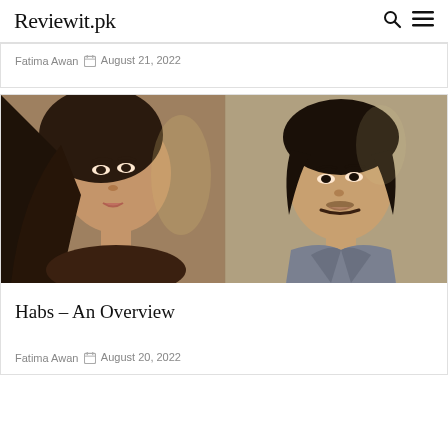Reviewit.pk
Fatima Awan  August 21, 2022
[Figure (photo): Two actors in a dramatic scene: a woman with long dark hair looking intently at camera on the left, and a man in a grey suit on the right, on a muted golden-brown background.]
Habs – An Overview
Fatima Awan  August 20, 2022